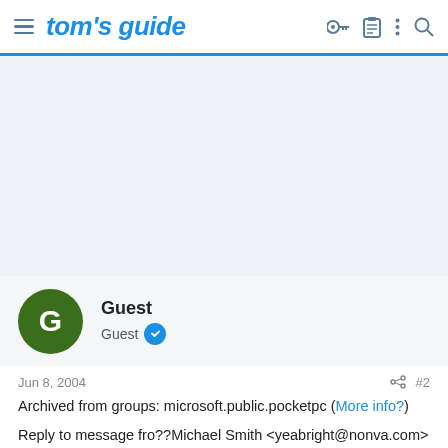tom's guide
[Figure (other): Advertisement placeholder area with light blue-grey background]
Guest
Guest
Jun 8, 2004   #2
Archived from groups: microsoft.public.pocketpc (More info?)
Reply to message fro??Michael Smith <yeabright@nonva.com> ()